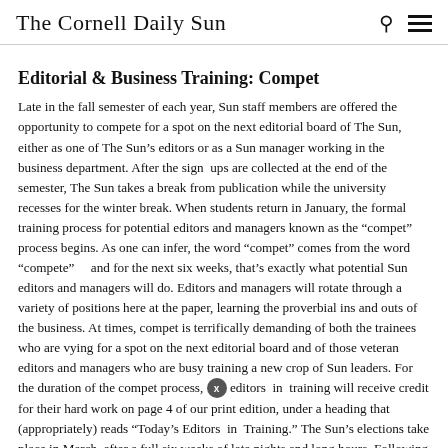The Cornell Daily Sun
Editorial & Business Training: Compet
Late in the fall semester of each year, Sun staff members are offered the opportunity to compete for a spot on the next editorial board of The Sun, either as one of The Sun's editors or as a Sun manager working in the business department. After the sign ups are collected at the end of the semester, The Sun takes a break from publication while the university recesses for the winter break. When students return in January, the formal training process for potential editors and managers known as the “compet” process begins. As one can infer, the word “compet” comes from the word “compete”    and for the next six weeks, that’s exactly what potential Sun editors and managers will do. Editors and managers will rotate through a variety of positions here at the paper, learning the proverbial ins and outs of the business. At times, compet is terrifically demanding of both the trainees who are vying for a spot on the next editorial board and of those veteran editors and managers who are busy training a new crop of Sun leaders. For the duration of the compet process, editors in training will receive credit for their hard work on page 4 of our print edition, under a heading that (appropriately) reads “Today’s Editors in Training.” The Sun’s elections take place in March, after a full six weeks of late nights and long hours. Following the elections, readers will see new names on the Sun’s mast, and those past editors who have served their time will, once again, become avid readers and dedicated staff members of the paper. Compet is a process that has served the paper well for decades.